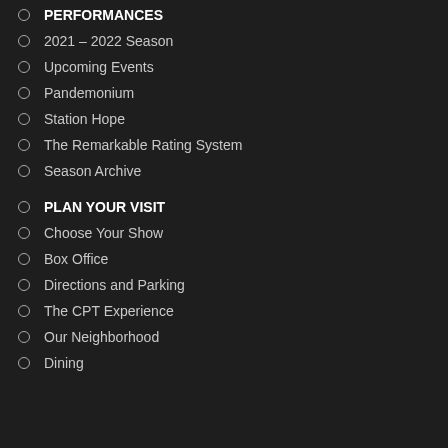PERFORMANCES
2021 – 2022 Season
Upcoming Events
Pandemonium
Station Hope
The Remarkable Rating System
Season Archive
PLAN YOUR VISIT
Choose Your Show
Box Office
Directions and Parking
The CPT Experience
Our Neighborhood
Dining